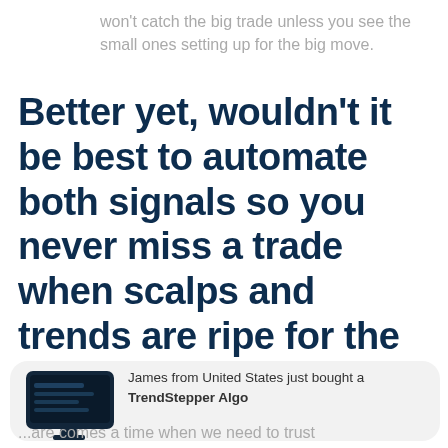won't catch the big trade unless you see the small ones setting up for the big move.
Better yet, wouldn't it be best to automate both signals so you never miss a trade when scalps and trends are ripe for the picking?
[Figure (illustration): Notification popup showing a monitor icon with TrendStepper Algo branding, and text: James from United States just bought a TrendStepper Algo]
...to trust